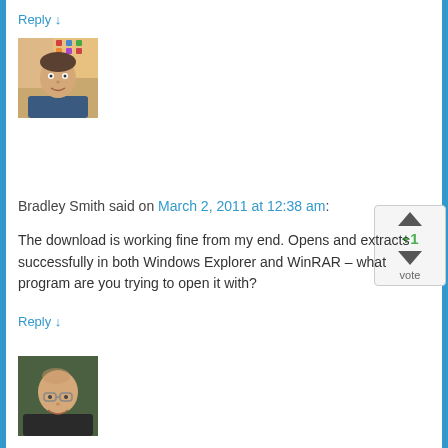Reply ↓
[Figure (photo): Avatar photo of Bradley Smith, a man with short dark hair]
[Figure (infographic): Vote widget showing +1 score with up and down arrows and vote label]
Bradley Smith said on March 2, 2011 at 12:38 am:
The download is working fine from my end. Opens and extracts successfully in both Windows Explorer and WinRAR – what program are you trying to open it with?
Reply ↓
[Figure (photo): Avatar photo of a bald man with glasses smiling]